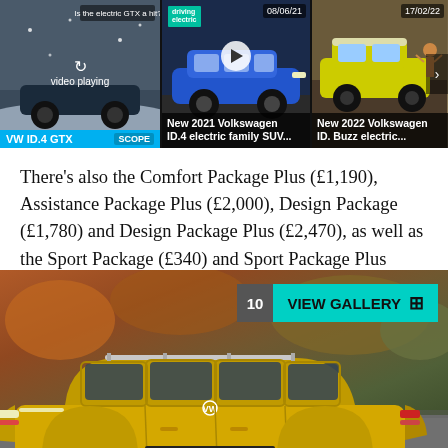[Figure (screenshot): Video carousel showing three thumbnails: VW ID.4 GTX video playing, New 2021 Volkswagen ID.4 electric family SUV (dated 08/06/21), New 2022 Volkswagen ID. Buzz electric... (dated 17/02/22)]
There's also the Comfort Package Plus (£1,190), Assistance Package Plus (£2,000), Design Package (£1,780) and Design Package Plus (£2,470), as well as the Sport Package (£340) and Sport Package Plus (£1,140).
[Figure (photo): Yellow Volkswagen ID.4 SUV photographed from side profile against autumn foliage background with a teal VIEW GALLERY button overlay showing '10']